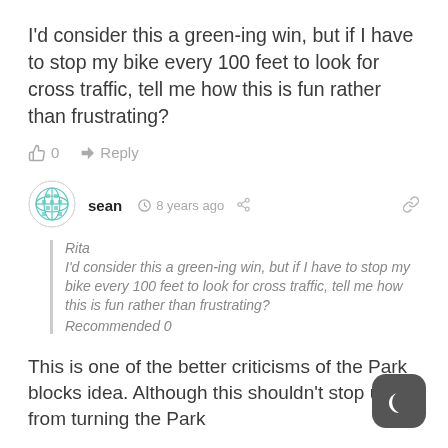I'd consider this a green-ing win, but if I have to stop my bike every 100 feet to look for cross traffic, tell me how this is fun rather than frustrating?
0  Reply
[Figure (illustration): User avatar with teal/green geometric globe pattern]
sean  8 years ago
Rita
I'd consider this a green-ing win, but if I have to stop my bike every 100 feet to look for cross traffic, tell me how this is fun rather than frustrating?
Recommended 0
This is one of the better criticisms of the Park blocks idea. Although this shouldn't stop us from turning the Park